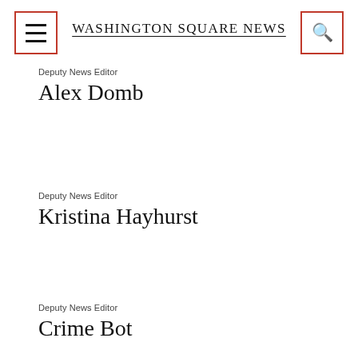Washington Square News
Deputy News Editor
Alex Domb
Deputy News Editor
Kristina Hayhurst
Deputy News Editor
Crime Bot